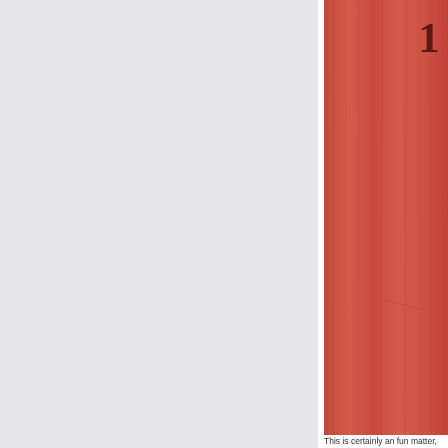[Figure (photo): Book cover with a reddish-orange textured background, showing a partial page number '1' in dark brown serif font in the upper right corner. The cover has vertical grain texture suggesting fabric or paper material.]
This is certainly an fun matter, nevertheless whe